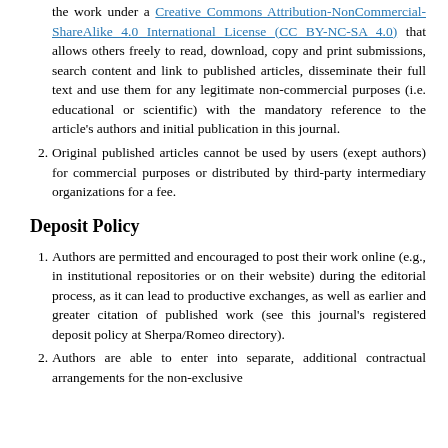the work under a Creative Commons Attribution-NonCommercial-ShareAlike 4.0 International License (CC BY-NC-SA 4.0) that allows others freely to read, download, copy and print submissions, search content and link to published articles, disseminate their full text and use them for any legitimate non-commercial purposes (i.e. educational or scientific) with the mandatory reference to the article's authors and initial publication in this journal.
Original published articles cannot be used by users (exept authors) for commercial purposes or distributed by third-party intermediary organizations for a fee.
Deposit Policy
Authors are permitted and encouraged to post their work online (e.g., in institutional repositories or on their website) during the editorial process, as it can lead to productive exchanges, as well as earlier and greater citation of published work (see this journal's registered deposit policy at Sherpa/Romeo directory).
Authors are able to enter into separate, additional contractual arrangements for the non-exclusive